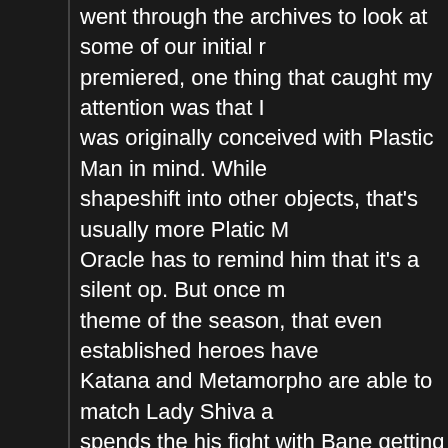went through the archives to look at some of our initial r... premiered, one thing that caught my attention was that I ... was originally conceived with Plastic Man in mind. While ... shapeshift into other objects, that's usually more Platic M... Oracle has to remind him that it's a silent op. But once m... theme of the season, that even established heroes have ... Katana and Metamorpho are able to match Lady Shiva a... spends the his fight with Bane getting trounced. Bane lea... strictly on fighting abilities, we'll have to see if Batman's o...
We get another case of "Your Princess is in another cast... it's discovered that she's no longer in the League of Sha... things we have the growing conflict between Brion and D... while it's shown that Brion does enjoy his time with Viole... frustrated by the lack of progress when it comes to their t... being shared. I'll go over this next episode when we cove... I'll just bring up Nightwing's closing line at the end of thei... trusting him or not. What did he think was going to happe...
And finally we see the conclusion of Jade's arc, for now. ... convinced that her family is better off without her, and I'd ... believes that she's too far into the criminal life to have a r... with her parents, Paula who got out of the life after the lo... only for what she did but for missing out on her daughter...